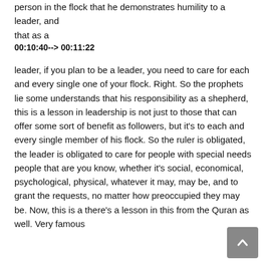person in the flock that he demonstrates humility to a leader, and that as a
00:10:40--> 00:11:22
leader, if you plan to be a leader, you need to care for each and every single one of your flock. Right. So the prophets lie some understands that his responsibility as a shepherd, this is a lesson in leadership is not just to those that can offer some sort of benefit as followers, but it's to each and every single member of his flock. So the ruler is obligated, the leader is obligated to care for people with special needs people that are you know, whether it's social, economical, psychological, physical, whatever it may, may be, and to grant the requests, no matter how preoccupied they may be. Now, this is a there's a lesson in this from the Quran as well. Very famous